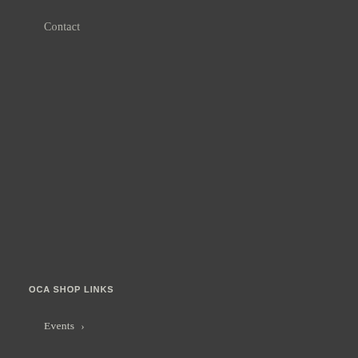Contact
Awards and Honors >
Proficiency Exam >
OCA Board
Committees
Code of Ethics
OCA Foundation
OCA SHOP LINKS
TERMS, CONDITIONS AND POLICIES
Events >
Terms and Conditions